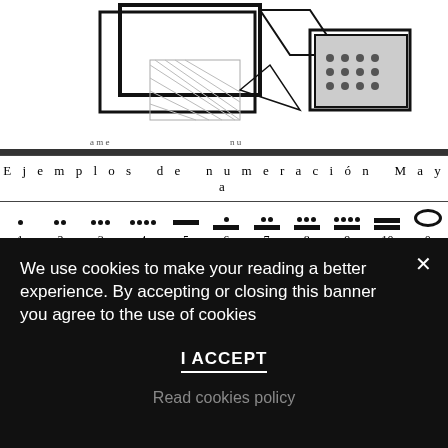[Figure (illustration): Partial image of Maya-related artifacts or diagrams at top of page, black and white]
| Ejemplos de numeración Maya |
| --- |
| • 1 | •• 2 | ••• 3 | •••• 4 | — 5 | •̄ 6 | ••̄ 7 | •••̄ 8 | ••••̄ 9 | = 10 | O 0 |
| • = 1 x 20 = 20 / O = 0 x 1 = 0 / Total: 20 | ••• = 3 x 20 = 60 / = = 1 x 10 = 10 / Total: 70 | = = 10 x 20 = 200 / ••••= = 9 x 1 = 9 / Total: 209 |
We use cookies to make your reading a better experience. By accepting or closing this banner you agree to the use of cookies
I ACCEPT
Read cookies policy